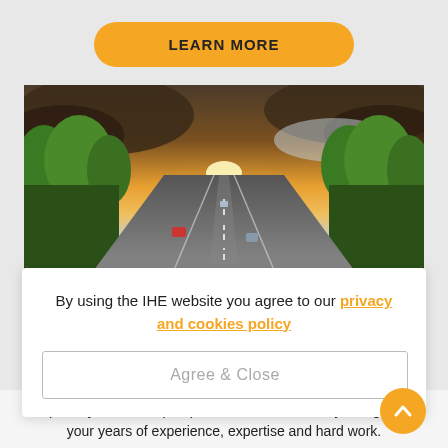[Figure (other): Orange/yellow rounded button labeled LEARN MORE]
[Figure (photo): Aerial view of a multi-lane motorway lined with green trees, with a dramatic sunset sky in the background and vehicles on the road.]
By using the IHE website you agree to our privacy and cookies policy
[Figure (other): Agree & Close button inside a bordered rectangle]
improve your career prospects and attain industry recognised your years of experience, expertise and hard work.